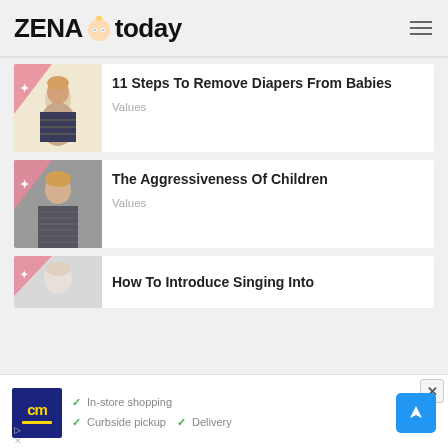ZENA today
11 Steps To Remove Diapers From Babies
Values
The Aggressiveness Of Children
Values
How To Introduce Singing Into
In-store shopping Curbside pickup Delivery